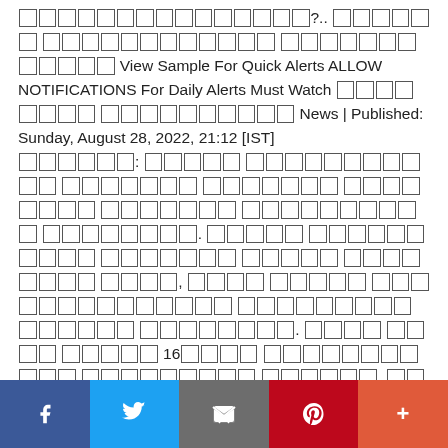⬛⬛⬛⬛⬛⬛⬛⬛⬛⬛⬛⬛⬛⬛⬛?..⬛⬛⬛⬛⬛⬛ ⬛⬛⬛⬛⬛⬛⬛⬛⬛⬛⬛⬛ ⬛⬛⬛⬛⬛⬛⬛⬛⬛⬛⬛⬛ View Sample For Quick Alerts ALLOW NOTIFICATIONS For Daily Alerts Must Watch ⬛⬛⬛⬛⬛⬛⬛⬛ ⬛⬛⬛⬛⬛⬛⬛⬛⬛⬛ News | Published: Sunday, August 28, 2022, 21:12 [IST] ⬛⬛⬛⬛⬛⬛: ⬛⬛⬛⬛⬛ ⬛⬛⬛⬛⬛⬛⬛⬛⬛⬛⬛ ⬛⬛⬛⬛⬛⬛⬛ ⬛⬛⬛⬛⬛⬛⬛ ⬛⬛⬛⬛⬛⬛⬛ ⬛⬛⬛⬛⬛⬛⬛⬛ ⬛⬛⬛⬛⬛⬛⬛ ⬛⬛⬛⬛⬛⬛⬛⬛⬛⬛ ⬛⬛⬛⬛⬛⬛⬛⬛. ⬛⬛⬛⬛⬛ ⬛⬛⬛⬛⬛⬛⬛⬛⬛⬛ ⬛⬛⬛⬛⬛⬛⬛ ⬛⬛⬛⬛⬛ ⬛⬛⬛⬛⬛⬛⬛⬛ ⬛⬛⬛⬛, ⬛⬛⬛⬛ ⬛⬛⬛⬛⬛ ⬛⬛⬛⬛⬛⬛⬛⬛⬛⬛⬛⬛⬛⬛ ⬛⬛⬛⬛⬛⬛⬛⬛⬛ ⬛⬛⬛⬛⬛⬛ ⬛⬛⬛⬛⬛⬛⬛⬛. ⬛⬛⬛⬛ ⬛⬛⬛⬛ ⬛⬛⬛⬛⬛ 16⬛⬛⬛⬛ ⬛⬛⬛⬛⬛⬛⬛⬛⬛⬛⬛ ⬛⬛⬛⬛⬛⬛⬛⬛⬛ ⬛⬛⬛⬛⬛⬛, ⬛⬛⬛⬛⬛⬛⬛ ⬛⬛⬛⬛⬛⬛⬛⬛ ⬛⬛⬛⬛⬛ ⬛⬛⬛⬛ ⬛⬛⬛⬛⬛⬛⬛⬛ ⬛⬛⬛⬛⬛⬛⬛⬛⬛⬛⬛⬛⬛⬛ ⬛⬛⬛⬛⬛
[Figure (other): Social sharing bar with Facebook, Twitter, Email, Pinterest, and More (+) buttons]